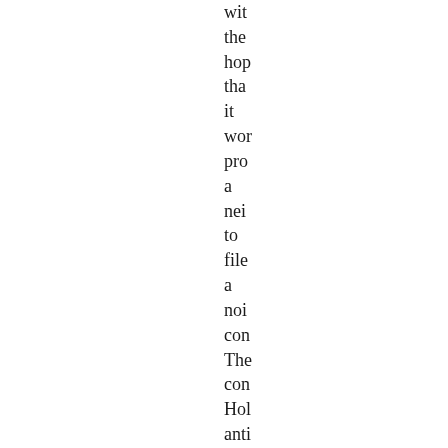with the hope that it would provide a neighbor to file a noise complaint. The complaint Hol anticipated would cause a responsible official